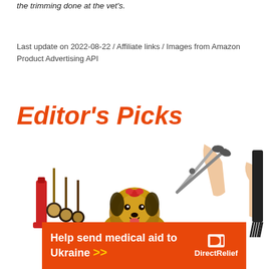the trimming done at the vet's.
Last update on 2022-08-22 / Affiliate links / Images from Amazon Product Advertising API
Editor's Picks
[Figure (photo): A Yorkshire Terrier being groomed with scissors and a comb by human hands, with grooming brushes and tools visible on the left side. White background.]
[Figure (infographic): Orange Direct Relief advertisement banner reading 'Help send medical aid to Ukraine >>' with the Direct Relief logo on a white background.]